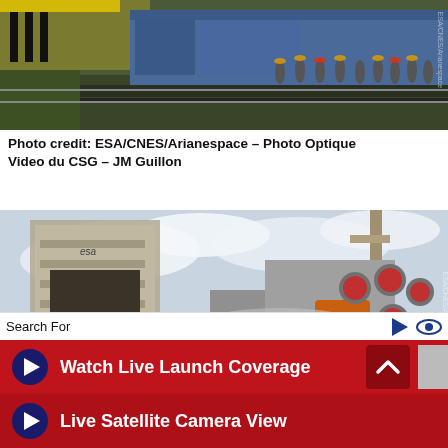[Figure (photo): Photo of a train on tracks with a group of workers/people walking behind it on a launch facility, outdoor setting with green vegetation.]
Photo credit: ESA/CNES/Arianespace – Photo Optique Video du CSG – JM Guillon
[Figure (photo): Close-up photo of Soyuz rocket engines with orange boosters and red nozzles, shown horizontally on a launch platform with ESA gantry tower in background.]
Search For
Watch Live Launch Coverage
Live Satellite Camera View